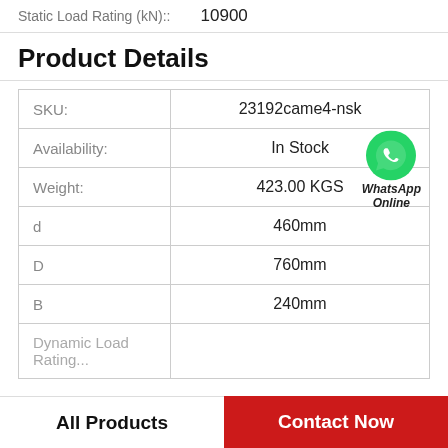Static Load Rating (kN):: 10900
Product Details
|  |  |
| --- | --- |
| SKU: | 23192came4-nsk |
| Availability: | In Stock |
| Weight: | 423.00 KGS |
| d | 460mm |
| D | 760mm |
| B | 240mm |
| Dynamic Load Rating... |  |
All Products   Contact Now